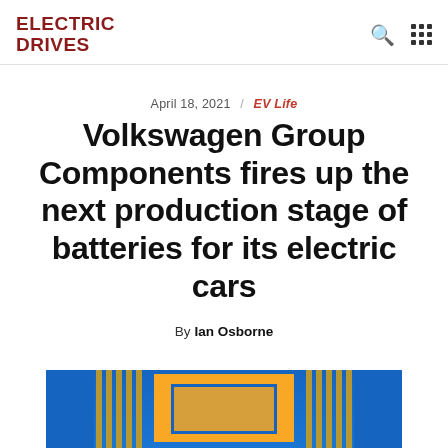ELECTRIC DRIVES
April 18, 2021 / EV Life
Volkswagen Group Components fires up the next production stage of batteries for its electric cars
By Ian Osborne
[Figure (photo): Industrial battery production facility with blue and yellow machinery components]